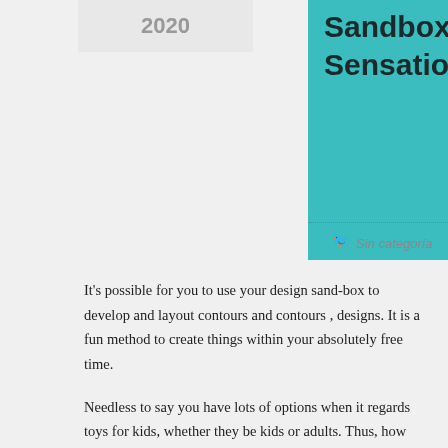2020
Sandbox To Construct Additional Sensational Styles
Sin categoría
It's possible for you to use your design sand-box to develop and layout contours and contours , designs. It is a fun method to create things within your absolutely free time.
Needless to say you have lots of options when it regards toys for kids, whether they be kids or adults. Thus, how about if it comes to toys for children? We've got your children to come up with their abilities, imaginative thinking as well as also a terrific creativity along with a great deal of toys which may help .
However, what when you might have trouble building auto summary generator contours from cubes? It feels just